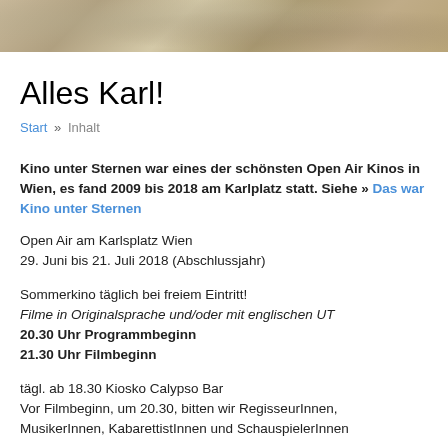[Figure (photo): Grainy/textured outdoor photo banner, appears to show foliage or ground texture in muted beige/brown tones]
Alles Karl!
Start » Inhalt
Kino unter Sternen war eines der schönsten Open Air Kinos in Wien, es fand 2009 bis 2018 am Karlplatz statt. Siehe » Das war Kino unter Sternen
Open Air am Karlsplatz Wien
29. Juni bis 21. Juli 2018 (Abschlussjahr)
Sommerkino täglich bei freiem Eintritt!
Filme in Originalsprache und/oder mit englischen UT
20.30 Uhr Programmbeginn
21.30 Uhr Filmbeginn
tägl. ab 18.30 Kiosko Calypso Bar
Vor Filmbeginn, um 20.30, bitten wir RegisseurInnen, MusikerInnen, KabarettistInnen und SchauspielerInnen